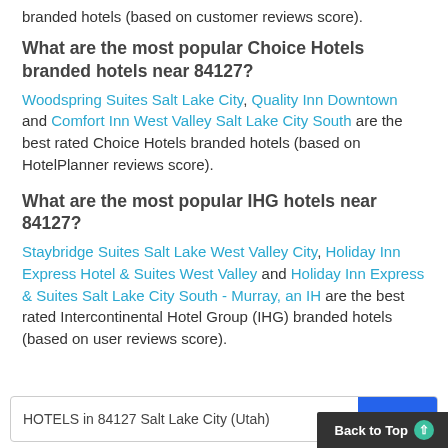branded hotels (based on customer reviews score).
What are the most popular Choice Hotels branded hotels near 84127?
Woodspring Suites Salt Lake City, Quality Inn Downtown and Comfort Inn West Valley Salt Lake City South are the best rated Choice Hotels branded hotels (based on HotelPlanner reviews score).
What are the most popular IHG hotels near 84127?
Staybridge Suites Salt Lake West Valley City, Holiday Inn Express Hotel & Suites West Valley and Holiday Inn Express & Suites Salt Lake City South - Murray, an IH are the best rated Intercontinental Hotel Group (IHG) branded hotels (based on user reviews score).